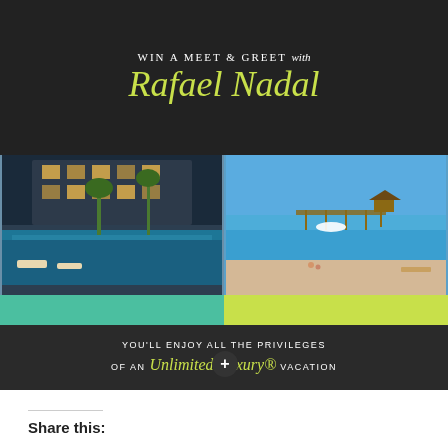[Figure (infographic): Promotional advertisement for a contest to win a meet and greet with Rafael Nadal, including a 3-night stay for 2 plus air to Secrets Aura Cozumel, a picture with him, and an autograph. Features tennis racket graphic, two resort/beach photos, green and yellow info bands, and text about Unlimited-Luxury vacation privileges.]
Share this: